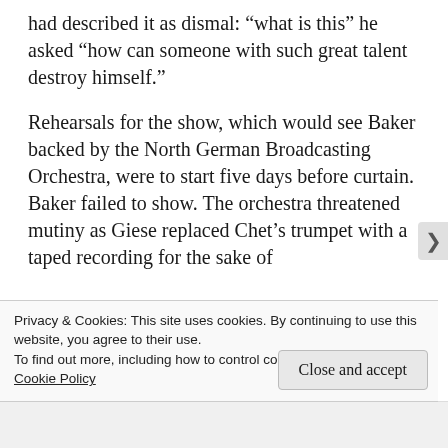had described it as dismal: “what is this” he asked “how can someone with such great talent destroy himself.”
Rehearsals for the show, which would see Baker backed by the North German Broadcasting Orchestra, were to start five days before curtain. Baker failed to show. The orchestra threatened mutiny as Giese replaced Chet’s trumpet with a taped recording for the sake of rehearsal, as desperate calls were place to find
Privacy & Cookies: This site uses cookies. By continuing to use this website, you agree to their use.
To find out more, including how to control cookies, see here:
Cookie Policy
Close and accept